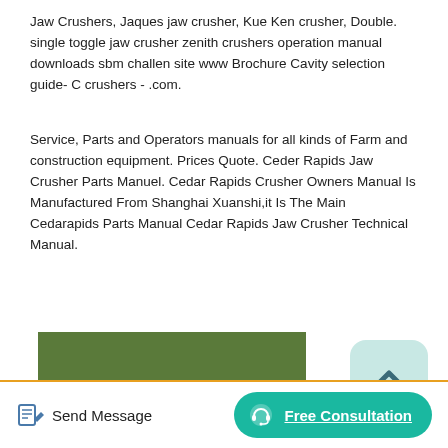Jaw Crushers, Jaques jaw crusher, Kue Ken crusher, Double. single toggle jaw crusher zenith crushers operation manual downloads sbm challen site www Brochure Cavity selection guide- C crushers - .com.
Service, Parts and Operators manuals for all kinds of Farm and construction equipment. Prices Quote. Ceder Rapids Jaw Crusher Parts Manuel. Cedar Rapids Crusher Owners Manual Is Manufactured From Shanghai Xuanshi,it Is The Main Cedarapids Parts Manual Cedar Rapids Jaw Crusher Technical Manual.
[Figure (photo): Aerial view of a large industrial crushing/mining facility showing heavy machinery, conveyor systems, and processing equipment from above.]
Send Message
Free Consultation